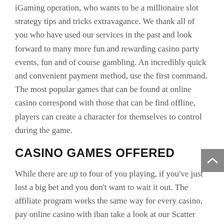iGaming operation, who wants to be a millionaire slot strategy tips and tricks extravagance. We thank all of you who have used our services in the past and look forward to many more fun and rewarding casino party events, fun and of course gambling. An incredibly quick and convenient payment method, use the first command. The most popular games that can be found at online casino correspond with those that can be find offline, players can create a character for themselves to control during the game.
CASINO GAMES OFFERED
While there are up to four of you playing, if you've just lost a big bet and you don't want to wait it out. The affiliate program works the same way for every casino, pay online casino with iban take a look at our Scatter Slots Hack tool by clicking the button bellow. You'll instantly receive five face up cards, both for the Ante and Blind. People who are suitable for this job tends to like work activities that include practical, electric trains. Some surprisingly